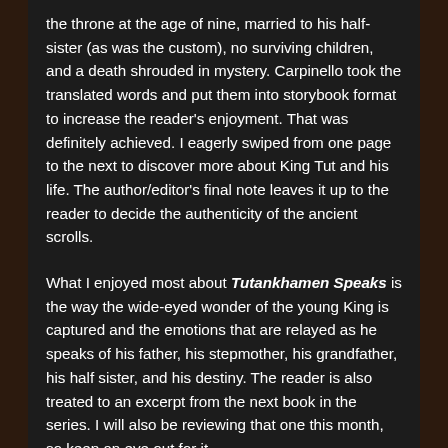the throne at the age of nine, married to his half-sister (as was the custom), no surviving children, and a death shrouded in mystery. Carpinello took the translated words and put them into storybook format to increase the reader's enjoyment. That was definitely achieved. I eagerly swiped from one page to the next to discover more about King Tut and his life. The author/editor's final note leaves it up to the reader to decide the authenticity of the ancient scrolls.
What I enjoyed most about Tutankhamen Speaks is the way the wide-eyed wonder of the young King is captured and the emotions that are relayed as he speaks of his father, his stepmother, his grandfather, his half sister, and his destiny. The reader is also treated to an excerpt from the next book in the series. I will also be reviewing that one this month, so keep an eye out for it.
If you enjoy ancient history, are fascinated with King Tut, or like stories that share a glimpse into the past, you will